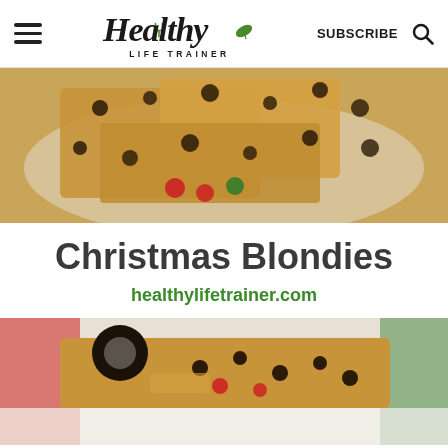Healthy Life Trainer | SUBSCRIBE
[Figure (photo): Stacked Christmas blondies bars with chocolate chips and M&Ms on a white plate, top-down close-up view]
Christmas Blondies
healthylifetrainer.com
[Figure (photo): Close-up of a Christmas blondie bar showing Oreo cookies, chocolate chips, and colorful M&Ms on a white surface]